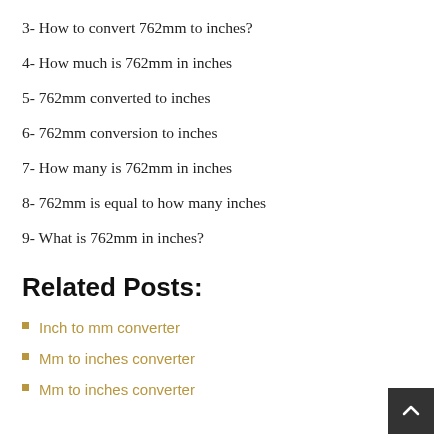3- How to convert 762mm to inches?
4- How much is 762mm in inches
5- 762mm converted to inches
6- 762mm conversion to inches
7- How many is 762mm in inches
8- 762mm is equal to how many inches
9- What is 762mm in inches?
Related Posts:
Inch to mm converter
Mm to inches converter
Mm to inches converter